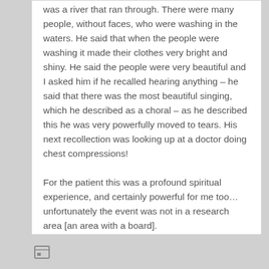was a river that ran through. There were many people, without faces, who were washing in the waters. He said that when the people were washing it made their clothes very bright and shiny. He said the people were very beautiful and I asked him if he recalled hearing anything – he said that there was the most beautiful singing, which he described as a choral – as he described this he was very powerfully moved to tears. His next recollection was looking up at a doctor doing chest compressions!
For the patient this was a profound spiritual experience, and certainly powerful for me too… unfortunately the event was not in a research area [an area with a board].